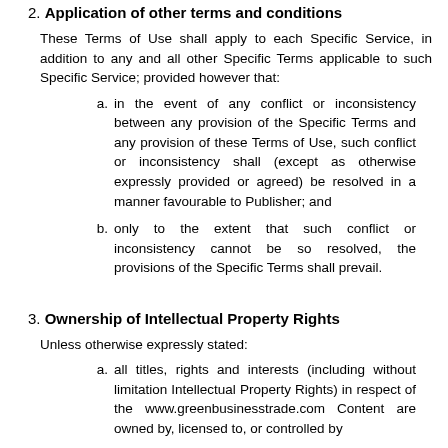2. Application of other terms and conditions
These Terms of Use shall apply to each Specific Service, in addition to any and all other Specific Terms applicable to such Specific Service; provided however that:
a. in the event of any conflict or inconsistency between any provision of the Specific Terms and any provision of these Terms of Use, such conflict or inconsistency shall (except as otherwise expressly provided or agreed) be resolved in a manner favourable to Publisher; and
b. only to the extent that such conflict or inconsistency cannot be so resolved, the provisions of the Specific Terms shall prevail.
3. Ownership of Intellectual Property Rights
Unless otherwise expressly stated:
a. all titles, rights and interests (including without limitation Intellectual Property Rights) in respect of the www.greenbusinesstrade.com Content are owned by, licensed to, or controlled by